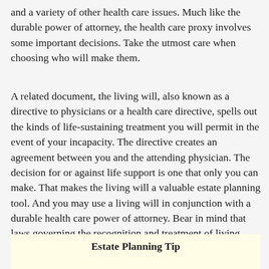and a variety of other health care issues. Much like the durable power of attorney, the health care proxy involves some important decisions. Take the utmost care when choosing who will make them.
A related document, the living will, also known as a directive to physicians or a health care directive, spells out the kinds of life-sustaining treatment you will permit in the event of your incapacity. The directive creates an agreement between you and the attending physician. The decision for or against life support is one that only you can make. That makes the living will a valuable estate planning tool. And you may use a living will in conjunction with a durable health care power of attorney. Bear in mind that laws governing the recognition and treatment of living wills may vary from state to state.
Estate Planning Tip